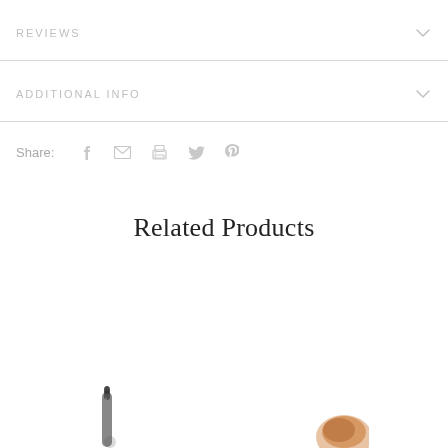REVIEWS
ADDITIONAL INFO
Share:
Related Products
[Figure (photo): Bottom of page showing partial product thumbnail images]